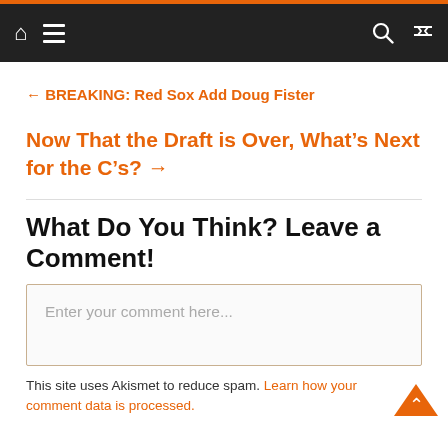Navigation bar with home, menu, search, and shuffle icons
← BREAKING: Red Sox Add Doug Fister
Now That the Draft is Over, What's Next for the C's? →
What Do You Think? Leave a Comment!
Enter your comment here...
This site uses Akismet to reduce spam. Learn how your comment data is processed.